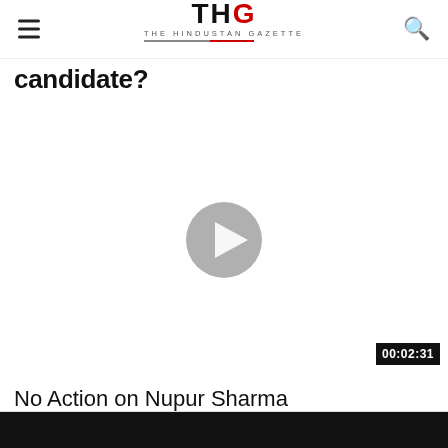THG - THE HINDUSTAN GAZETTE
candidate?
[Figure (other): Video thumbnail with play button in center and duration timestamp 00:02:31 in bottom right]
No Action on Nupur Sharma